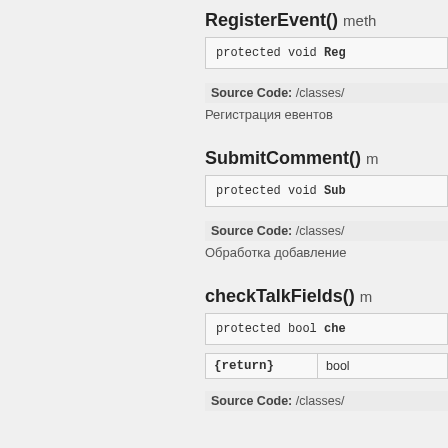RegisterEvent() meth…
protected void Reg…
Source Code: /classes/…
Регистрация евентов
SubmitComment() m…
protected void Sub…
Source Code: /classes/…
Обработка добавление…
checkTalkFields() m…
protected bool che…
| {return} | bool |
| --- | --- |
Source Code: /classes/…